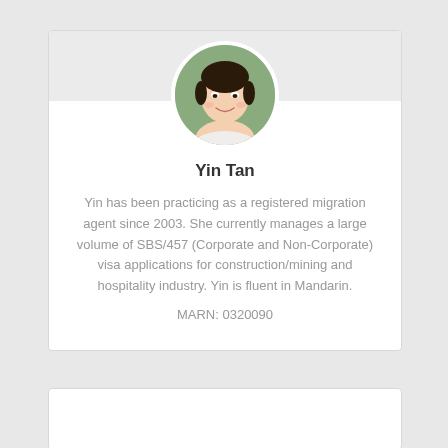[Figure (photo): Circular portrait photo of Yin Tan, a woman with dark hair, smiling, outdoors with green background]
Yin Tan
Yin has been practicing as a registered migration agent since 2003. She currently manages a large volume of SBS/457 (Corporate and Non-Corporate) visa applications for construction/mining and hospitality industry. Yin is fluent in Mandarin.
MARN: 0320090